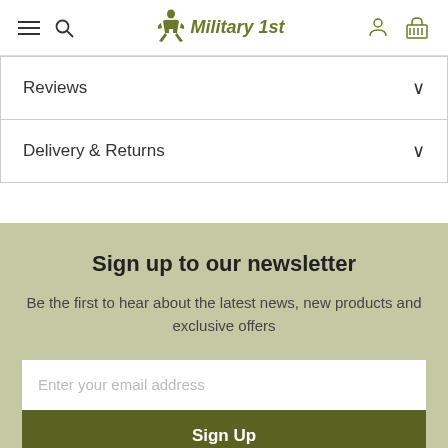Military 1st — navigation header with hamburger menu, search, logo, account and basket icons
Reviews
Delivery & Returns
Sign up to our newsletter
Be the first to hear about the latest news, new products and exclusive offers
Enter your email address
Sign Up